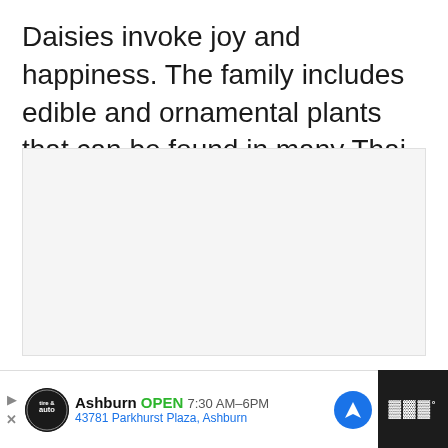Daisies invoke joy and happiness. The family includes edible and ornamental plants that can be found in many Thai gardens.
[Figure (photo): Light gray placeholder image area for a photo related to daisies]
[Figure (screenshot): UI overlay showing: heart/like button (green, count 7), share button, What's Next panel showing chamomile thumbnail with label 'WHAT'S NEXT → Where Chamomile...']
[Figure (screenshot): Advertisement bar: Tire & Auto logo, Ashburn OPEN 7:30AM–6PM, 43781 Parkhurst Plaza Ashburn, navigation icon; right side dark panel with weather/info widget]